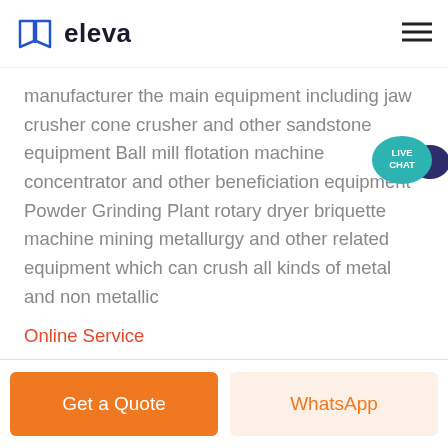eleva
manufacturer the main equipment including jaw crusher cone crusher and other sandstone equipment Ball mill flotation machine concentrator and other beneficiation equipment Powder Grinding Plant rotary dryer briquette machine mining metallurgy and other related equipment which can crush all kinds of metal and non metallic
Online Service
Get a Quote
WhatsApp